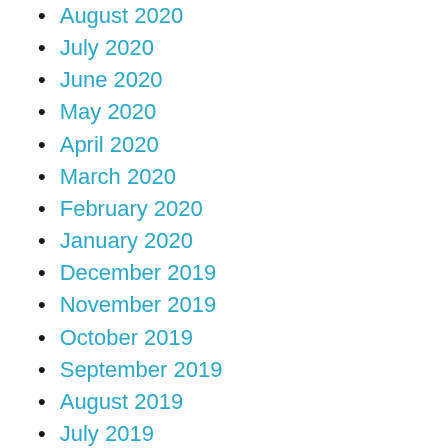August 2020
July 2020
June 2020
May 2020
April 2020
March 2020
February 2020
January 2020
December 2019
November 2019
October 2019
September 2019
August 2019
July 2019
June 2019
May 2019
April 2019
March 2019
February 2019